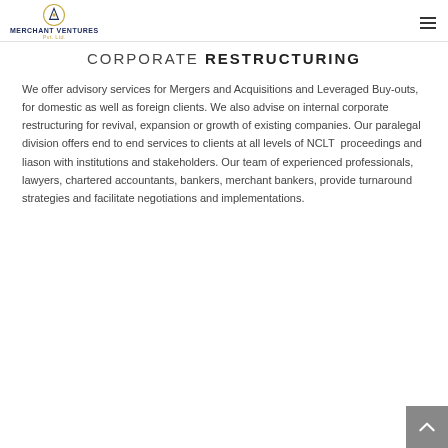MERCHANT VENTURES Pvt. Ltd.
CORPORATE RESTRUCTURING
We offer advisory services for Mergers and Acquisitions and Leveraged Buy-outs, for domestic as well as foreign clients. We also advise on internal corporate restructuring for revival, expansion or growth of existing companies. Our paralegal division offers end to end services to clients at all levels of NCLT proceedings and liason with institutions and stakeholders. Our team of experienced professionals, lawyers, chartered accountants, bankers, merchant bankers, provide turnaround strategies and facilitate negotiations and implementations.